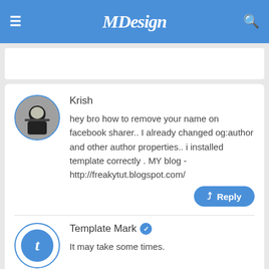MDesign
Krish
hey bro how to remove your name on facebook sharer.. I already changed og:author and other author properties.. i installed template correctly . MY blog - http://freakytut.blogspot.com/
Template Mark
It may take some times.
Anonymous